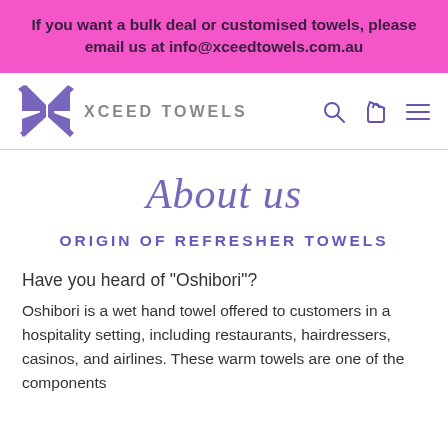If you want a bulk deal or customised towels, please email us at info@xceedtowels.com.au
[Figure (logo): Xceed Towels logo with stylized purple X icon and text 'XCEED TOWELS', plus search, cart, and hamburger menu icons]
About us
ORIGIN OF REFRESHER TOWELS
Have you heard of "Oshibori"?
Oshibori is a wet hand towel offered to customers in a hospitality setting, including restaurants, hairdressers, casinos, and airlines. These warm towels are one of the components